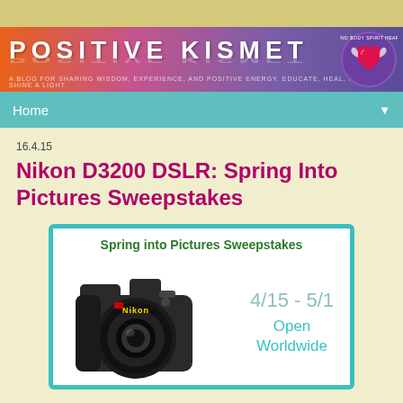[Figure (screenshot): Top advertisement bar - olive/yellow colored strip]
[Figure (screenshot): Positive Kismet blog header banner with gradient orange to purple background, white bold title text 'POSITIVE KISMET', subtitle tagline, and circular logo with heart/wings on right]
Home
16.4.15
Nikon D3200 DSLR: Spring Into Pictures Sweepstakes
[Figure (infographic): Spring into Pictures Sweepstakes promotional box with teal border. Shows 'Spring into Pictures Sweepstakes' title in green bold text, dates '4/15 - 5/1' in teal, 'Open Worldwide' in teal text, and a Nikon D3200 DSLR camera image]